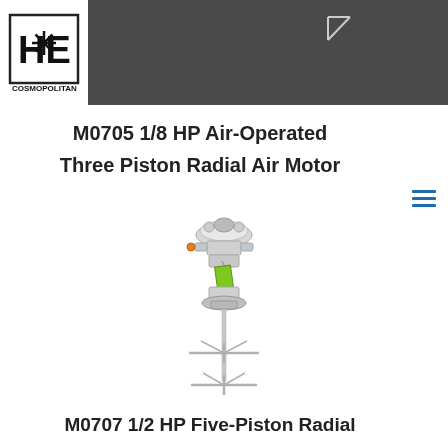HE Cosmopolitan logo header
M0705 1/8 HP Air-Operated Three Piston Radial Air Motor
[Figure (photo): M0705 1/8 HP Air-Operated Three Piston Radial Air Motor product photo showing a vertical shaft motor with radial piston assembly at top and cross-shaped mixer blades at bottom]
M0707 1/2 HP Five-Piston Radial